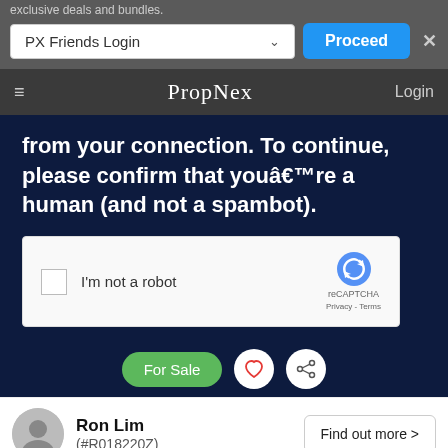exclusive deals and bundles.
[Figure (screenshot): PX Friends Login dropdown and Proceed button UI]
PropNex  Login
from your connection. To continue, please confirm that youâ€™re a human (and not a spambot).
[Figure (screenshot): reCAPTCHA widget with checkbox 'I'm not a robot' and reCAPTCHA logo with Privacy - Terms]
[Figure (screenshot): For Sale green button, heart icon circle, share icon circle]
Ron Lim
(#R018220Z)
Find out more >